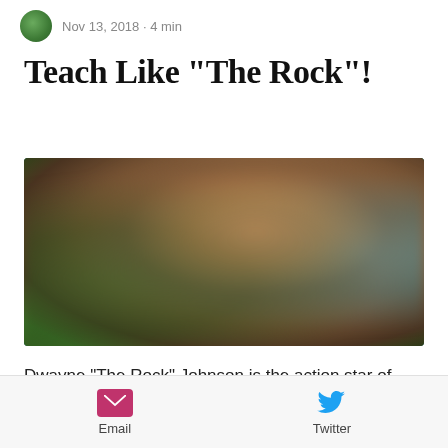Nov 13, 2018 · 4 min
Teach Like "The Rock"!
[Figure (photo): Blurred photo of Dwayne 'The Rock' Johnson smiling, with green foliage in the background and blue tones on the right side.]
Dwayne "The Rock" Johnson is the action star of our generation. His